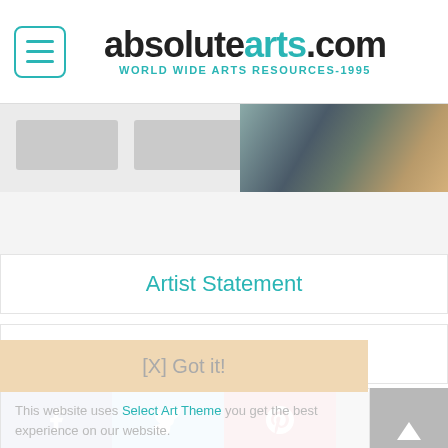absolutearts.com — WORLD WIDE ARTS RESOURCES-1995
[Figure (screenshot): Partial image strip showing gray placeholders and a textured stone/ceramic photo on the right]
Artist Statement
Artworks By Price
This website uses Select Art Theme you get the best experience on our website. Learn more Choose Art Medium
[X] Got it!
Facebook | Twitter | Pinterest | Email